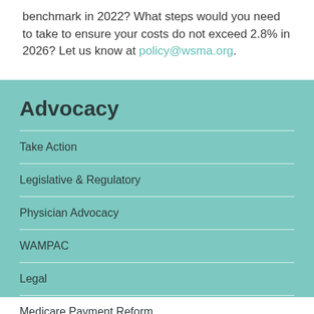benchmark in 2022? What steps would you need to take to ensure your costs do not exceed 2.8% in 2026? Let us know at policy@wsma.org.
Advocacy
Take Action
Legislative & Regulatory
Physician Advocacy
WAMPAC
Legal
Medicare Payment Reform